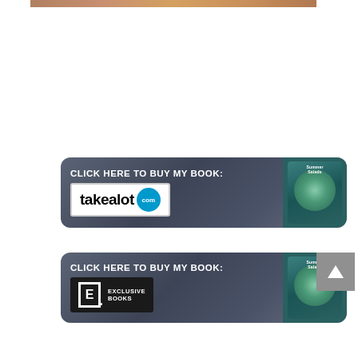[Figure (other): Partial image strip at top of page, cropped food/book image]
[Figure (other): Banner ad: CLICK HERE TO BUY MY BOOK: takealot.com, with book cover image on right side, dark metallic background]
[Figure (other): Banner ad: CLICK HERE TO BUY MY BOOK: Exclusive Books logo, with book cover image on right side, dark metallic background]